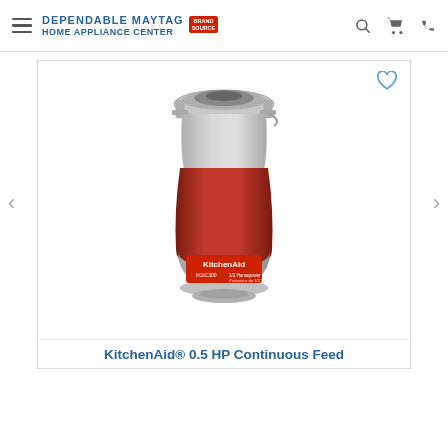DEPENDABLE MAYTAG HOME APPLIANCE CENTER BrandSource
[Figure (photo): KitchenAid garbage disposal unit model KGIC300, 1/2 Horsepower, with silver top and red body, shown on a white background inside a product card with a heart/wishlist icon]
KitchenAid® 0.5 HP Continuous Feed